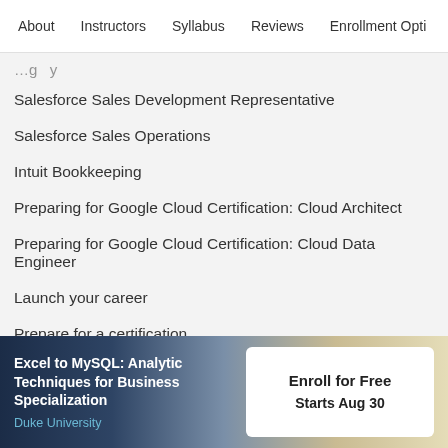About   Instructors   Syllabus   Reviews   Enrollment Opti
(truncated item)
Salesforce Sales Development Representative
Salesforce Sales Operations
Intuit Bookkeeping
Preparing for Google Cloud Certification: Cloud Architect
Preparing for Google Cloud Certification: Cloud Data Engineer
Launch your career
Prepare for a certification
Advance your career
Excel to MySQL: Analytic Techniques for Business Specialization
Duke University
Enroll for Free
Starts Aug 30